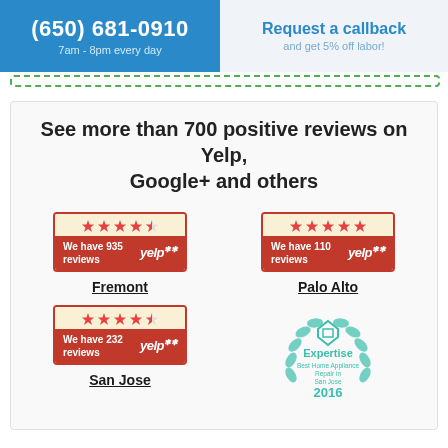(650) 681-0910 | 7am - 8pm every day | Request a callback and get 5% off labor!
See more than 700 positive reviews on Yelp, Google+ and others
[Figure (other): Yelp badge showing 935 reviews with star rating - Fremont]
Fremont
[Figure (other): Yelp badge showing 110 reviews with star rating - Palo Alto]
Palo Alto
[Figure (other): Yelp badge showing 232 reviews with star rating - San Jose]
San Jose
[Figure (logo): Expertise badge - Best Home Appliance Repair in San Jose 2016]